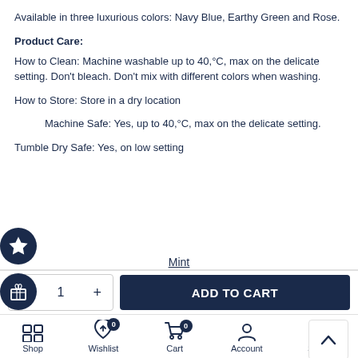Available in three luxurious colors: Navy Blue, Earthy Green and Rose.
Product Care:
How to Clean: Machine washable up to 40,°C, max on the delicate setting. Don't bleach. Don't mix with different colors when washing.
How to Store: Store in a dry location
Machine Safe: Yes, up to 40,°C, max on the delicate setting.
Tumble Dry Safe: Yes, on low setting
Mint
- 1 + ADD TO CART
Shop  Wishlist 0  Cart 0  Account  Search